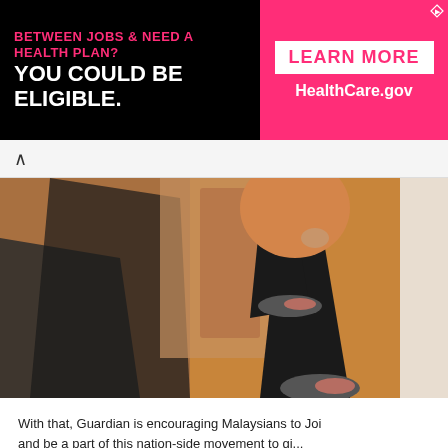[Figure (other): Advertisement banner: black background left side with pink text 'BETWEEN JOBS & NEED A HEALTH PLAN?' and white text 'YOU COULD BE ELIGIBLE.' Right side pink background with white box 'LEARN MORE' and 'HealthCare.gov']
[Figure (photo): Person wearing orange top and black leggings doing a high-knee running exercise on an orange floor, wearing grey and coral sneakers. Dark fabric visible on left side of frame.]
With that, Guardian is encouraging Malaysians to Joi and be a part of this nation-side movement to gi...